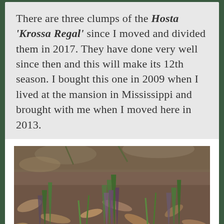There are three clumps of the Hosta 'Krossa Regal' since I moved and divided them in 2017. They have done very well since then and this will make its 12th season. I bought this one in 2009 when I lived at the mansion in Mississippi and brought with me when I moved here in 2013.
[Figure (photo): Close-up photo of hosta plant emerging from soil, showing purple-green shoots and spiky new growth among dried leaves and dirt.]